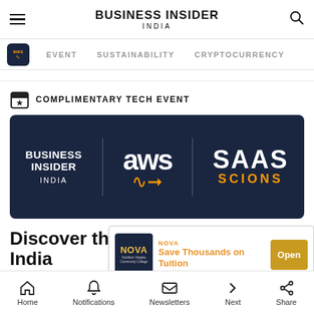BUSINESS INSIDER INDIA
EVENT   SUSTAINABILITY   CRYPTOCURRENCY
COMPLIMENTARY TECH EVENT
[Figure (logo): Business Insider India x AWS x SAAS Scions event banner on dark navy background]
Discover the future of SaaS in India
The 6-pa... ders and highlight...
[Figure (screenshot): Ad overlay: NOVA - Save Thousands on Tuition with Open button]
Home   Notifications   Newsletters   Next   Share